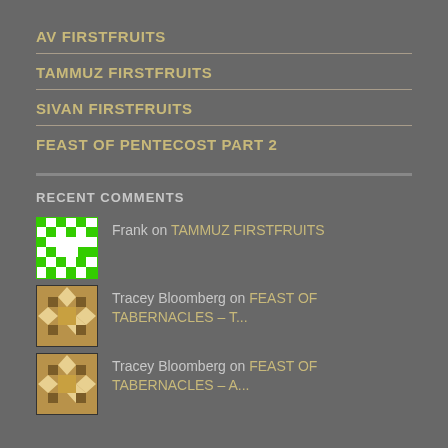AV FIRSTFRUITS
TAMMUZ FIRSTFRUITS
SIVAN FIRSTFRUITS
FEAST OF PENTECOST PART 2
RECENT COMMENTS
Frank on TAMMUZ FIRSTFRUITS
Tracey Bloomberg on FEAST OF TABERNACLES – T...
Tracey Bloomberg on FEAST OF TABERNACLES – A...